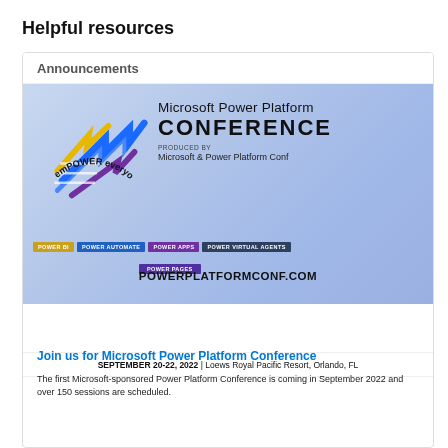Helpful resources
Announcements
[Figure (illustration): Microsoft Power Platform Conference banner with emPOWER everyone logo (arrows in blue, yellow, purple), conference title, produced by Microsoft & Power Platform Conf, product tags (Power BI, Power Automate, Power Apps, Power Virtual Agents, Power Pages), and URL powerplatformconf.com. Date and venue: September 20-22, 2022 | Loews Royal Pacific Resort, Orlando, FL]
Join us for Microsoft Power Platform Conference
The first Microsoft-sponsored Power Platform Conference is coming in September 2022 and over 150 sessions are scheduled.